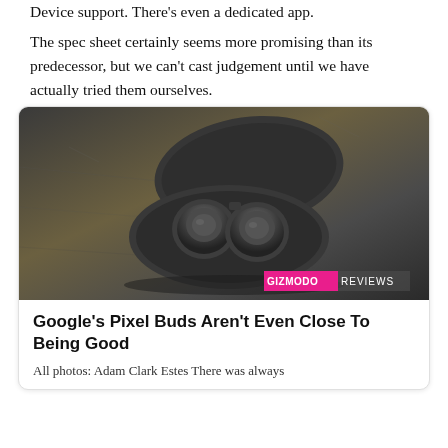Device support. There's even a dedicated app.
The spec sheet certainly seems more promising than its predecessor, but we can't cast judgement until we have actually tried them ourselves.
[Figure (photo): Photo of Google Pixel Buds earbuds in their open charging case, placed on a dark textured surface. A 'GIZMODO REVIEWS' badge is overlaid in the bottom-right corner.]
Google's Pixel Buds Aren't Even Close To Being Good
All photos: Adam Clark Estes There was always